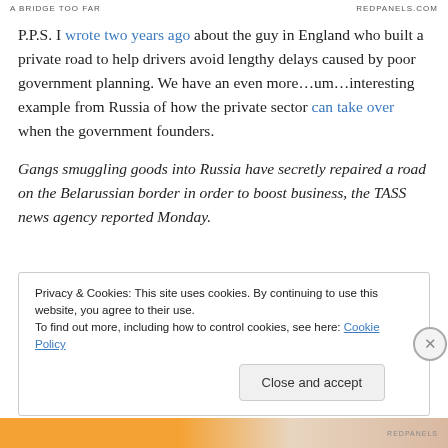A BRIDGE TOO FAR | REDPANELS.COM
P.P.S. I wrote two years ago about the guy in England who built a private road to help drivers avoid lengthy delays caused by poor government planning. We have an even more…um…interesting example from Russia of how the private sector can take over when the government founders.
Gangs smuggling goods into Russia have secretly repaired a road on the Belarussian border in order to boost business, the TASS news agency reported Monday.
Privacy & Cookies: This site uses cookies. By continuing to use this website, you agree to their use.
To find out more, including how to control cookies, see here: Cookie Policy
Close and accept